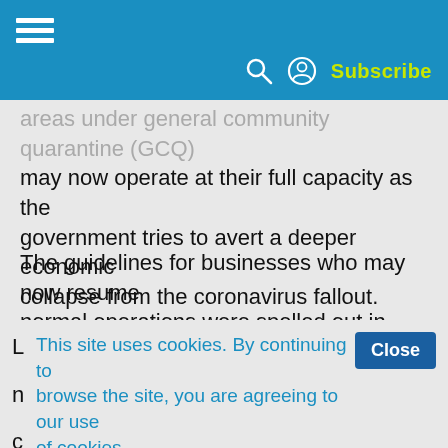Subscribe
areas under general community quarantine (GCQ) may now operate at their full capacity as the government tries to avert a deeper economic collapse from the coronavirus fallout.
The guidelines for businesses who may now resume normal operations were spelled out in memorandum circular (MC) 20-52 released Friday by the Department of Trade and Industry (DTI). The document will immediately take effect upon its publication.
This site uses cookies. By continuing to browse the site, you are agreeing to our use of cookies.